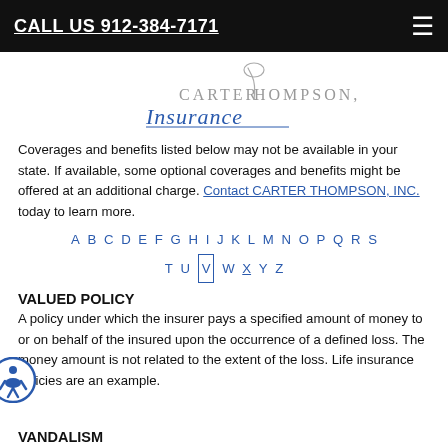CALL US 912-384-7171
[Figure (logo): Carter Thompson, Inc. Insurance logo with script text]
Coverages and benefits listed below may not be available in your state. If available, some optional coverages and benefits might be offered at an additional charge. Contact CARTER THOMPSON, INC. today to learn more.
A B C D E F G H I J K L M N O P Q R S T U V W X Y Z
VALUED POLICY
A policy under which the insurer pays a specified amount of money to or on behalf of the insured upon the occurrence of a defined loss. The money amount is not related to the extent of the loss. Life insurance policies are an example.
VANDALISM